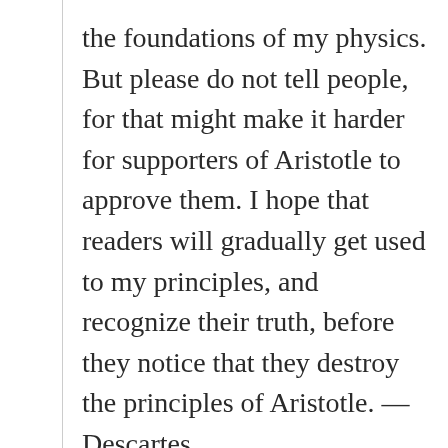the foundations of my physics. But please do not tell people, for that might make it harder for supporters of Aristotle to approve them. I hope that readers will gradually get used to my principles, and recognize their truth, before they notice that they destroy the principles of Aristotle. — Descartes
8. As a consequence of her weaker reasoning powers, woman has a smaller share of the advantages and disadvantages these bring with them.